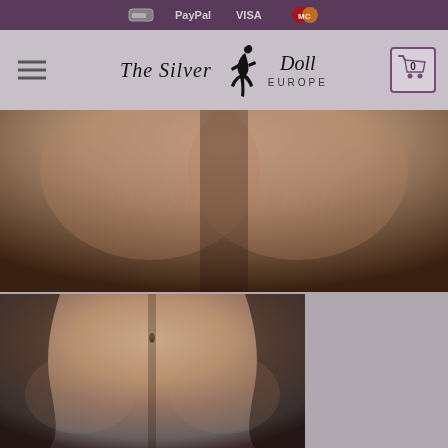Payment icons: PayPal, VISA, Mastercard
[Figure (logo): The Silver Doll Europe logo with silhouette figure, navigation bar with hamburger menu and cart icon showing 0 items]
[Figure (photo): Close-up product photo of doll torso/chest area with The Silver Doll watermark overlay]
[Figure (photo): Close-up product photo of doll midsection/abdomen area showing navel detail]